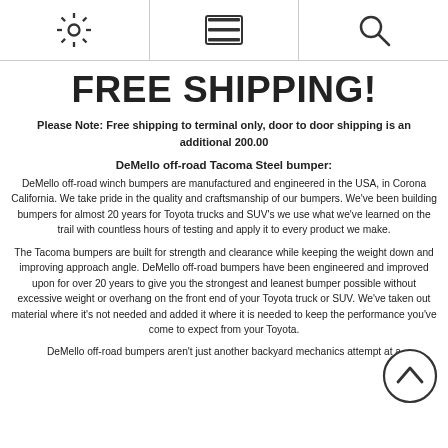[settings icon] [menu icon] [search icon]
FREE SHIPPING!
Please Note: Free shipping to terminal only, door to door shipping is an additional 200.00
DeMello off-road Tacoma Steel bumper:
DeMello off-road winch bumpers are manufactured and engineered in the USA, in Corona California. We take pride in the quality and craftsmanship of our bumpers. We've been building bumpers for almost 20 years for Toyota trucks and SUV's we use what we've learned on the trail with countless hours of testing and apply it to every product we make.
The Tacoma bumpers are built for strength and clearance while keeping the weight down and improving approach angle. DeMello off-road bumpers have been engineered and improved upon for over 20 years to give you the strongest and leanest bumper possible without excessive weight or overhang on the front end of your Toyota truck or SUV. We've taken out material where it's not needed and added it where it is needed to keep the performance you've come to expect from your Toyota.
DeMello off-road bumpers aren't just another backyard mechanics attempt at a